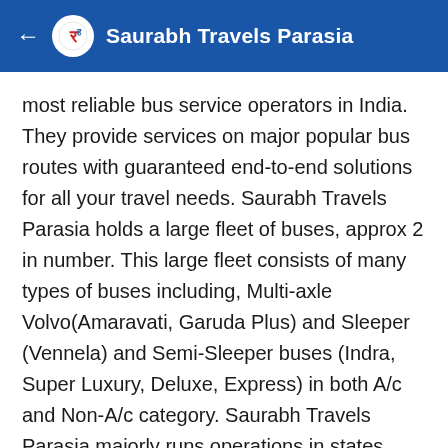Saurabh Travels Parasia
most reliable bus service operators in India. They provide services on major popular bus routes with guaranteed end-to-end solutions for all your travel needs. Saurabh Travels Parasia holds a large fleet of buses, approx 2 in number. This large fleet consists of many types of buses including, Multi-axle Volvo(Amaravati, Garuda Plus) and Sleeper (Vennela) and Semi-Sleeper buses (Indra, Super Luxury, Deluxe, Express) in both A/c and Non-A/c category. Saurabh Travels Parasia majorly runs operations in states Madhya Pradesh, via popular routes namely, chhindwara-bhopal, chhindwara-jabalpur. The Saurabh Travels Parasia buses offer various features too like, safety, hygiene, best-lowest prices on bus